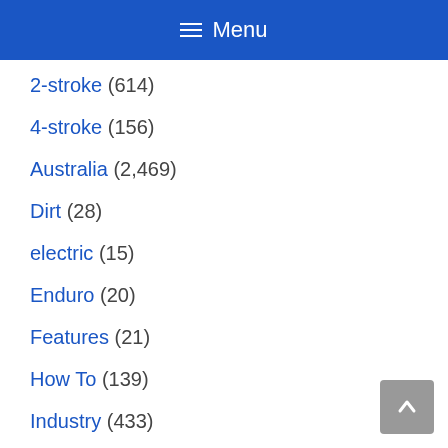Menu
2-stroke (614)
4-stroke (156)
Australia (2,469)
Dirt (28)
electric (15)
Enduro (20)
Features (21)
How To (139)
Industry (433)
International (1,408)
News (1,678)
People (176)